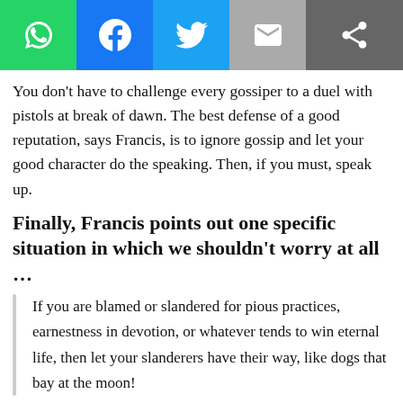[Figure (other): Social sharing toolbar with WhatsApp, Facebook, Twitter, Email, and Share buttons]
You don’t have to challenge every gossiper to a duel with pistols at break of dawn. The best defense of a good reputation, says Francis, is to ignore gossip and let your good character do the speaking. Then, if you must, speak up.
Finally, Francis points out one specific situation in which we shouldn’t worry at all …
If you are blamed or slandered for pious practices, earnestness in devotion, or whatever tends to win eternal life, then let your slanderers have their way, like dogs that bay at the moon!